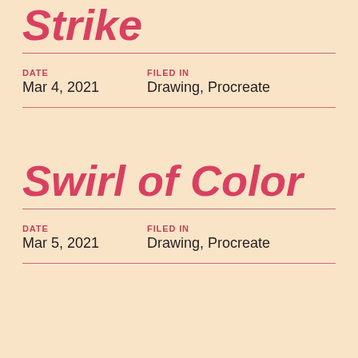Strike
DATE: Mar 4, 2021 | FILED IN: Drawing, Procreate
Swirl of Color
DATE: Mar 5, 2021 | FILED IN: Drawing, Procreate